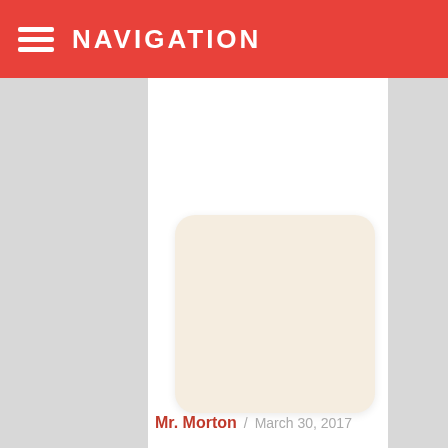NAVIGATION
[Figure (illustration): A book cover card with cream/beige background and rounded corners, displayed in the center-lower portion of the page]
Mr. Morton  /  March 30, 2017